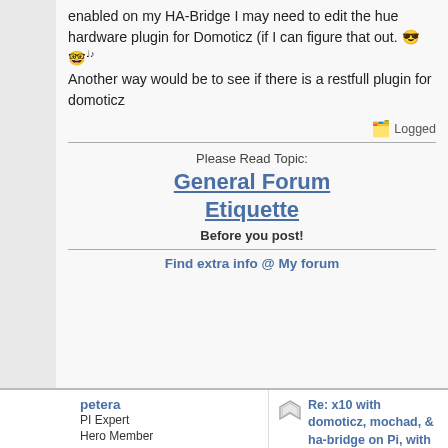enabled on my HA-Bridge I may need to edit the hue hardware plugin for Domoticz (if I can figure that out. 😎 🎵
Another way would be to see if there is a restfull plugin for domoticz
Logged
Please Read Topic:
General Forum Etiquette
Before you post!
Find extra info @ My forum
petera
PI Expert
Hero Member
★★★★★
Helpful Post Rating: 23
Posts: 1724
Re: x10 with domoticz, mochad, & ha-bridge on Pi, with external broadlink RM...